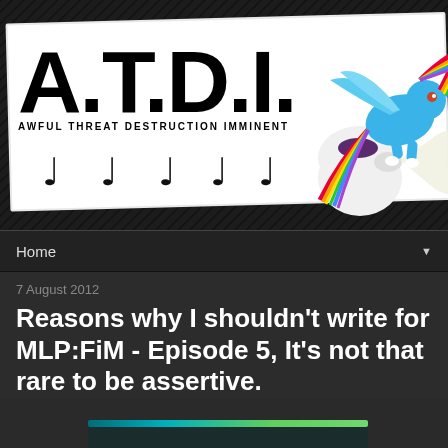[Figure (screenshot): ATDI website header banner with A.T.D.I. logo on white paper card, ghost and pac-man graphics, rainbow-colored pony character on dark crosshatch background]
Home
7 August 2012
Reasons why I shouldn't write for MLP:FiM - Episode 5, It's not that rare to be assertive.
[Figure (screenshot): Partial image at bottom showing teal and green horizontal bar at top of a video or image thumbnail]